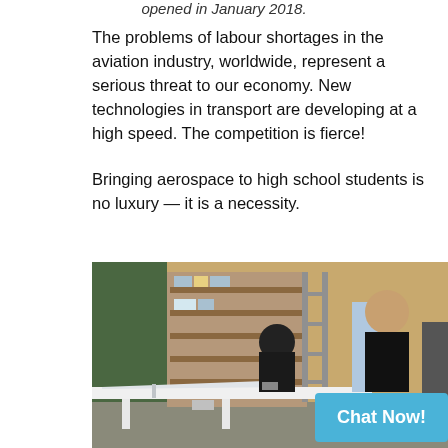opened in January 2018.
The problems of labour shortages in the aviation industry, worldwide, represent a serious threat to our economy. New technologies in transport are developing at a high speed. The competition is fierce!
Bringing aerospace to high school students is no luxury — it is a necessity.
[Figure (photo): Students working at desks in a classroom or workshop setting with shelving units in the background. An aircraft model component is visible on a white table in the foreground. A chat button overlay reads 'Chat Now!' in the bottom right corner.]